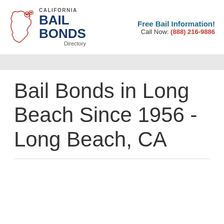[Figure (logo): California Bail Bonds Directory logo with California state outline and handcuffs icon]
Free Bail Information!
Call Now: (888) 216-9886
Bail Bonds in Long Beach Since 1956 - Long Beach, CA
[Figure (map): Google Maps screenshot showing Long Beach CA area with streets including Washington, Pacific Ave, Magnolia Ave, Long Beach Blvd, Atlantic Ave, W Anaheim St, and a red location pin near E Anaheim St. CAMBODIA TOWN and LINCOLN labels visible.]